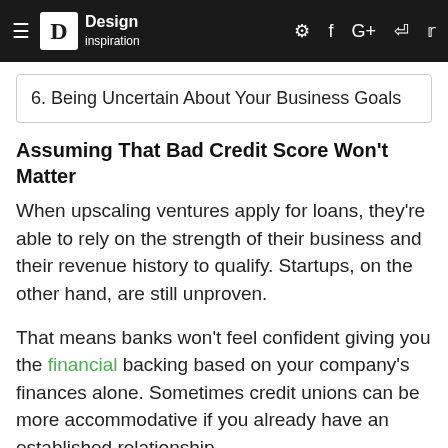Design inspiration — navigation bar with hamburger, logo, settings, facebook, google+, rss, twitter icons
6. Being Uncertain About Your Business Goals
Assuming That Bad Credit Score Won't Matter
When upscaling ventures apply for loans, they're able to rely on the strength of their business and their revenue history to qualify. Startups, on the other hand, are still unproven.
That means banks won't feel confident giving you the financial backing based on your company's finances alone. Sometimes credit unions can be more accommodative if you already have an established relationship.